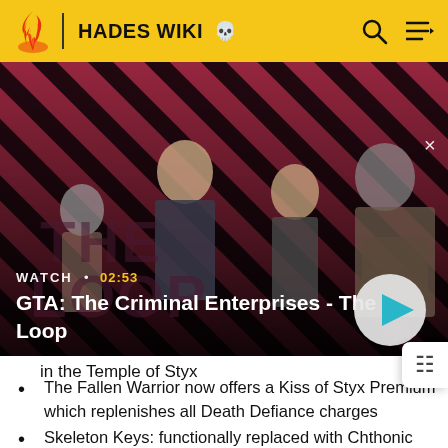HADES WIKI
[Figure (screenshot): GTA: The Criminal Enterprises - The Loop video thumbnail with striped red/dark background and characters, showing WATCH • 02:53 label and play button]
in the Temple of Styx
The Fallen Warrior now offers a Kiss of Styx Premium which replenishes all Death Defiance charges
Skeleton Keys: functionally replaced with Chthonic Keys